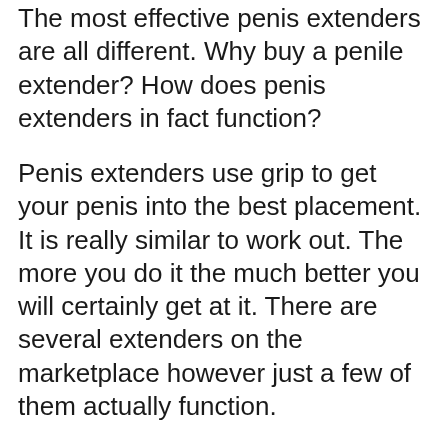The most effective penis extenders are all different. Why buy a penile extender? How does penis extenders in fact function?
Penis extenders use grip to get your penis into the best placement. It is really similar to work out. The more you do it the much better you will certainly get at it. There are several extenders on the marketplace however just a few of them actually function.
It is essential to use the proper technique of extender for your penis size. Do not utilize one that will certainly offer you a small penis. You need to understand your size prior to buying an extender. You can find a penis extender for your penis dimension by using the measurements given on the back of your